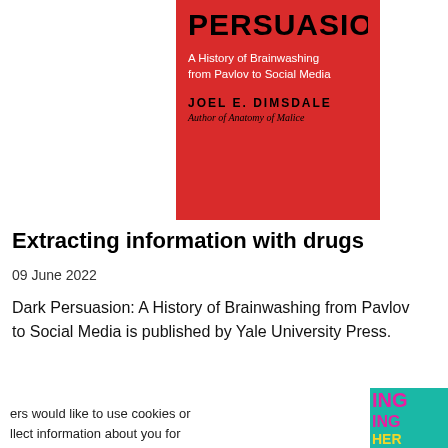[Figure (illustration): Book cover of 'Dark Persuasion: A History of Brainwashing from Pavlov to Social Media' by Joel E. Dimsdale, Author of Anatomy of Malice. Red background with black title text.]
Extracting information with drugs
09 June 2022
Dark Persuasion: A History of Brainwashing from Pavlov to Social Media is published by Yale University Press.
ers would like to use cookies or llect information about you for marketing purposes. You can specific purposes by selecting the n always withdraw your consent.
sential Cookies
[Figure (illustration): Partial view of a colorful book cover with pink/yellow text on teal background, partially obscured. Shows letters ING, ING, HER, 16, LDS]
[Figure (logo): The Psychologist magazine logo — 'the psychologist' in dark blue/purple text]